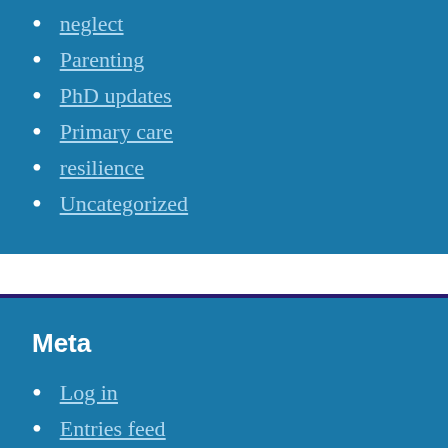neglect
Parenting
PhD updates
Primary care
resilience
Uncategorized
Meta
Log in
Entries feed
Comments feed
WordPress.org